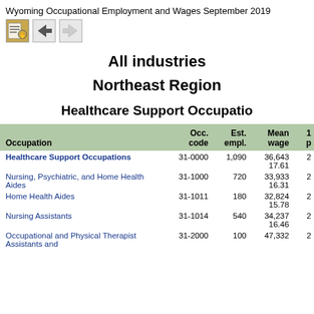Wyoming Occupational Employment and Wages September 2019
[Figure (other): Navigation icons: book/home icon, left arrow, right arrow]
All industries
Northeast Region
Healthcare Support Occupations
| Occupation | Occ. code | Est. empl. | Mean wage | 1... |
| --- | --- | --- | --- | --- |
| Healthcare Support Occupations | 31-0000 | 1,090 | 36,643 / 17.61 | 2... |
| Nursing, Psychiatric, and Home Health Aides | 31-1000 | 720 | 33,933 / 16.31 | 2... |
| Home Health Aides | 31-1011 | 180 | 32,824 / 15.78 | 2... |
| Nursing Assistants | 31-1014 | 540 | 34,237 / 16.46 | 2... |
| Occupational and Physical Therapist Assistants and | 31-2000 | 100 | 47,332 | 2... |